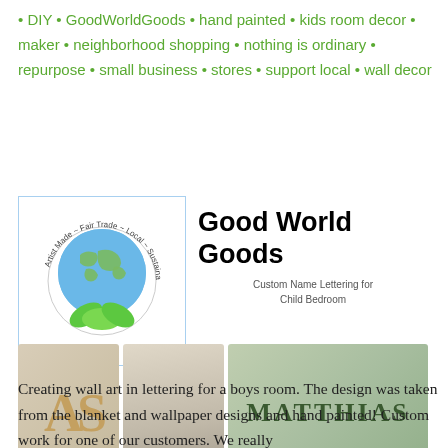• DIY • GoodWorldGoods • hand painted • kids room decor • maker • neighborhood shopping • nothing is ordinary • repurpose • small business • stores • support local • wall decor
[Figure (illustration): Good World Goods product listing composite: logo with globe and leaves (Artist Made ~ Fair Trade ~ Local ~ Sustainable), title 'Good World Goods', subtitle 'Custom Name Lettering for Child Bedroom', three photos of hand-painted letter wall art for children's rooms including letters 'AS', 'MAT', and 'MATTHIAS']
Creating wall art in lettering for a boys room. The design was taken from the blanket and wallpaper designs and hand painted! Custom work for one of our customers. We really